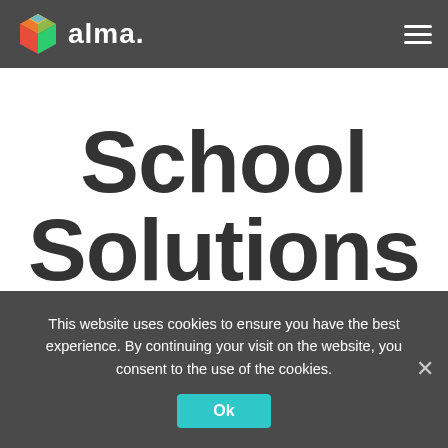alma
School Solutions
Find your must have feature
This website uses cookies to ensure you have the best experience. By continuing your visit on the website, you consent to the use of the cookies.